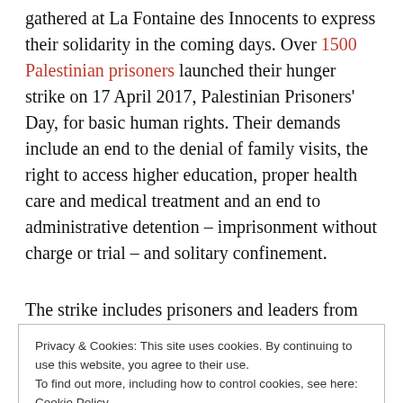gathered at La Fontaine des Innocents to express their solidarity in the coming days. Over 1500 Palestinian prisoners launched their hunger strike on 17 April 2017, Palestinian Prisoners' Day, for basic human rights. Their demands include an end to the denial of family visits, the right to access higher education, proper health care and medical treatment and an end to administrative detention – imprisonment without charge or trial – and solitary confinement.
The strike includes prisoners and leaders from
Privacy & Cookies: This site uses cookies. By continuing to use this website, you agree to their use.
To find out more, including how to control cookies, see here: Cookie Policy
Barghouthi and Hasan Salameh joined the strike